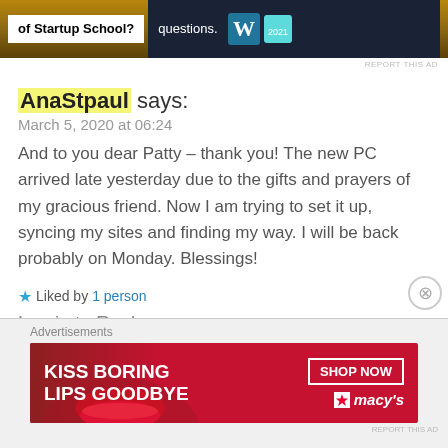[Figure (screenshot): Top advertisement banner showing 'of Startup School?' on left white panel and 'questions.' with WordPress logo on dark blue right panel, with 'REPORT THIS AD' text below]
AnaStpaul says:
March 5, 2020 at 06:24
And to you dear Patty – thank you! The new PC arrived late yesterday due to the gifts and prayers of my gracious friend. Now I am trying to set it up, syncing my sites and finding my way. I will be back probably on Monday. Blessings!
★ Liked by 1 person
Log in to Reply
[Figure (screenshot): Macy's advertisement banner with red background showing 'KISS BORING LIPS GOODBYE' text, woman's face with red lips, 'SHOP NOW' button and Macy's star logo]